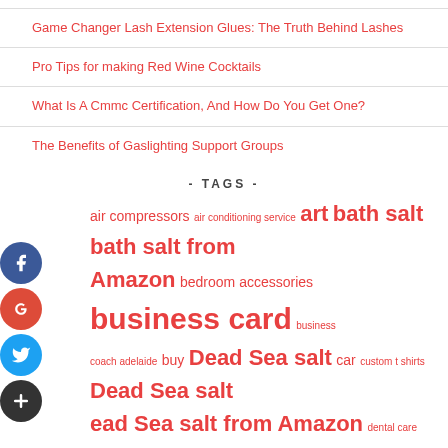Game Changer Lash Extension Glues: The Truth Behind Lashes
Pro Tips for making Red Wine Cocktails
What Is A Cmmc Certification, And How Do You Get One?
The Benefits of Gaslighting Support Groups
- TAGS -
air compressors air conditioning service art bath salt bath salt from Amazon bedroom accessories business card business coach adelaide buy Dead Sea salt car custom t shirts Dead Sea salt Dead Sea salt from Amazon dental care dental veneers Dentist digital marketing agency electrical services electrician fda orange book search gold business card